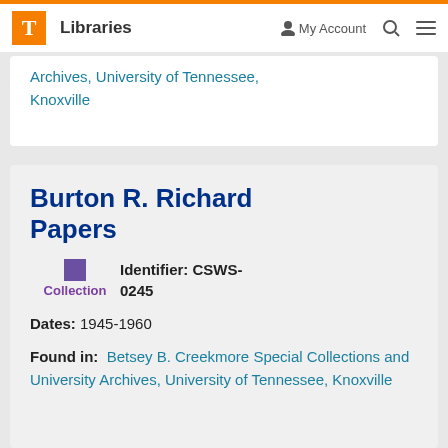T Libraries | My Account | Search | Menu
Archives, University of Tennessee, Knoxville
Burton R. Richard Papers
Collection  Identifier: CSWS-0245
Dates: 1945-1960
Found in: Betsey B. Creekmore Special Collections and University Archives, University of Tennessee, Knoxville